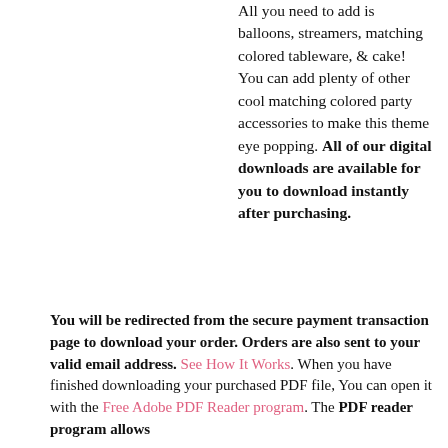All you need to add is balloons, streamers, matching colored tableware, & cake! You can add plenty of other cool matching colored party accessories to make this theme eye popping. All of our digital downloads are available for you to download instantly after purchasing.
You will be redirected from the secure payment transaction page to download your order. Orders are also sent to your valid email address. See How It Works. When you have finished downloading your purchased PDF file, You can open it with the Free Adobe PDF Reader program. The PDF reader program allows